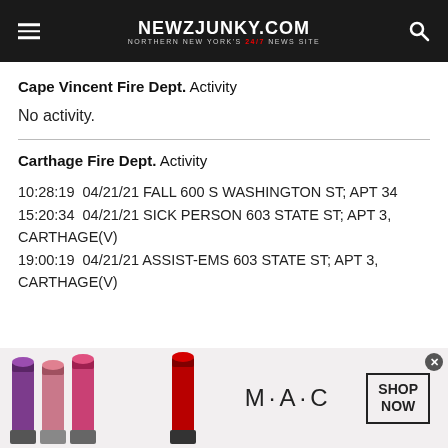NEWZJUNKY.COM — NORTHERN NEW YORK'S 24/7 NEWS SITE
Cape Vincent Fire Dept. Activity
No activity.
Carthage Fire Dept. Activity
10:28:19  04/21/21 FALL 600 S WASHINGTON ST; APT 34
15:20:34  04/21/21 SICK PERSON 603 STATE ST; APT 3, CARTHAGE(V)
19:00:19  04/21/21 ASSIST-EMS 603 STATE ST; APT 3, CARTHAGE(V)
[Figure (photo): MAC cosmetics advertisement banner showing lipstick products with 'M·A·C' branding and 'SHOP NOW' button]